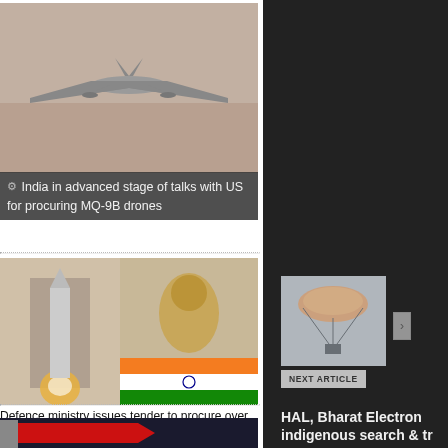[Figure (photo): Military drone (MQ-9B style) flying in sky, viewed from above-rear angle]
India in advanced stage of talks with US for procuring MQ-9B drones
[Figure (photo): Collage image showing rocket launch, Indian emblem (Ashoka lions), and Indian flag]
PREVIOUS ARTICLE
Defence ministry issues tender to procure over 29,000 'night sights' for army's assault rifles
[Figure (photo): Red flag against dark sky]
[Figure (photo): Small parachute image for next article navigation]
NEXT ARTICLE
HAL, Bharat Electron indigenous search & tr jets
Hindustan Aeronautics Limited contract with Bharat Electronics